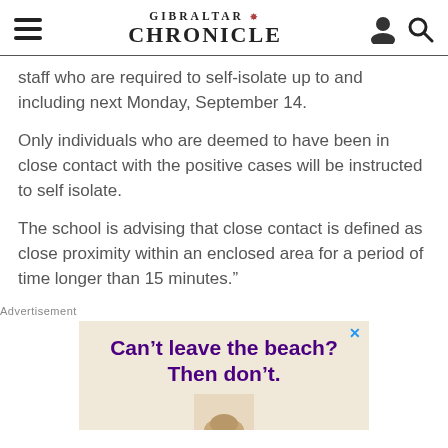GIBRALTAR CHRONICLE
staff who are required to self-isolate up to and including next Monday, September 14.
Only individuals who are deemed to have been in close contact with the positive cases will be instructed to self isolate.
The school is advising that close contact is defined as close proximity within an enclosed area for a period of time longer than 15 minutes.”
Advertisement
[Figure (other): Advertisement banner reading 'Can’t leave the beach? Then don’t.' with a beach image at the bottom]